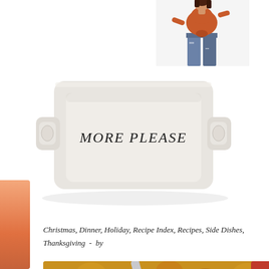[Figure (photo): A white ceramic baking dish with the text 'MORE PLEASE' printed on it in black hand-lettered font, with small side handles, on a white background]
[Figure (photo): A fashion illustration or photo of a woman in an orange tied crop top and distressed blue jeans, cropped to show torso]
Christmas, Dinner, Holiday, Recipe Index, Recipes, Side Dishes, Thanksgiving  -  by Lisa  -  0 Comments
[Figure (photo): Close-up photo of a cheesy corn casserole or vegetable bake with a golden crumb topping, pieces of green pepper, corn kernels, and tomatoes visible, with a spoon scooping into it]